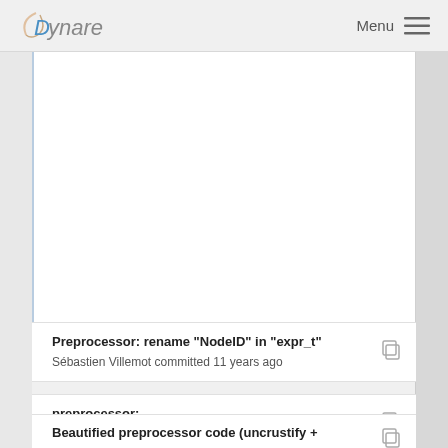Dynare  Menu
[Figure (screenshot): Large white blank content area, part of a web page with left blue border strip and right scrollbar rail]
Preprocessor: rename "NodeID" in "expr_t"
Sébastien Villemot committed 11 years ago
preprocessor:
sebastien committed 12 years ago
Beautified preprocessor code (uncrustify + emacs...